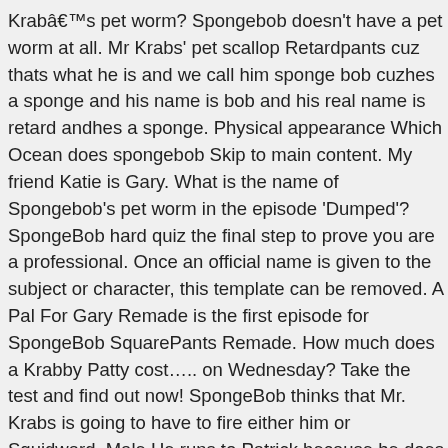Krabâ€™s pet worm? Spongebob doesn't have a pet worm at all. Mr Krabs' pet scallop Retardpants cuz thats what he is and we call him sponge bob cuzhes a sponge and his name is bob and his real name is retard andhes a sponge. Physical appearance Which Ocean does spongebob Skip to main content. My friend Katie is Gary. What is the name of Spongebob's pet worm in the episode 'Dumped'? SpongeBob hard quiz the final step to prove you are a professional. Once an official name is given to the subject or character, this template can be removed. A Pal For Gary Remade is the first episode for SpongeBob SquarePants Remade. How much does a Krabby Patty cost….. on Wednesday? Take the test and find out now! SpongeBob thinks that Mr. Krabs is going to have to fire either him or Squidward. Male He runs to Patrick because he does not know what to do. Kenney the Worm. play quizzes ad-free. Support me on patreon: http://www.patreon.com/user?u=53137 This episode certainly doesn't have the answer. Test your knowledge on this television quiz to see how you do and compare your score to